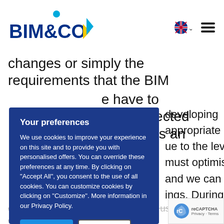BIM&CO
changes or simply the requirements that the BIM ... have to ... st be reflected ... hich forms an
[Figure (screenshot): Cookie consent modal overlay with dark blue background. Title: 'Your preferences'. Body text: 'We use cookies to improve your experience on this site and to provide you with personalised offers. You can override these preferences at any time. By clicking on "Accept All", you consent to the use of all cookies. You can customize cookies by clicking on "Customize". More information in our Privacy Policy.' Buttons: 'Accept all' (blue), 'Reject all' (white), 'Customize' (light blue).]
developing ... appropriate ... ue to the level ... must optimise ... and we can ... ings. During ... t ... ve been ... us in ou... Daily ... life which proves that we create with the BIM&CO